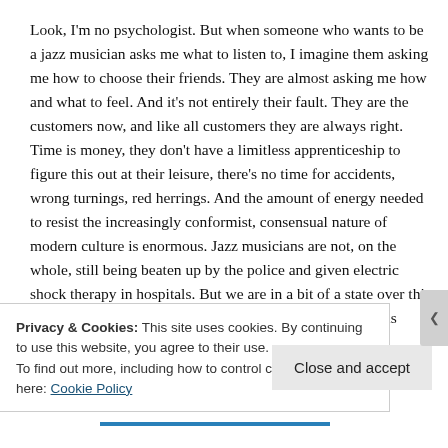Look, I'm no psychologist. But when someone who wants to be a jazz musician asks me what to listen to, I imagine them asking me how to choose their friends. They are almost asking me how and what to feel. And it's not entirely their fault. They are the customers now, and like all customers they are always right. Time is money, they don't have a limitless apprenticeship to figure this out at their leisure, there's no time for accidents, wrong turnings, red herrings. And the amount of energy needed to resist the increasingly conformist, consensual nature of modern culture is enormous. Jazz musicians are not, on the whole, still being beaten up by the police and given electric shock therapy in hospitals. But we are in a bit of a state over this whole role of music in contemporary life thing. Maybe this could, in some way, be our source of anger, our disgust
Privacy & Cookies: This site uses cookies. By continuing to use this website, you agree to their use.
To find out more, including how to control cookies, see here: Cookie Policy
Close and accept